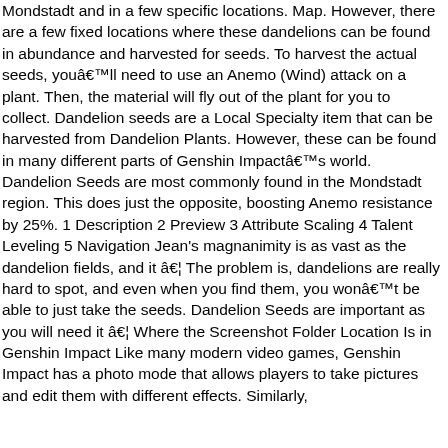Mondstadt and in a few specific locations. Map. However, there are a few fixed locations where these dandelions can be found in abundance and harvested for seeds. To harvest the actual seeds, youâll need to use an Anemo (Wind) attack on a plant. Then, the material will fly out of the plant for you to collect. Dandelion seeds are a Local Specialty item that can be harvested from Dandelion Plants. However, these can be found in many different parts of Genshin Impactâs world. Dandelion Seeds are most commonly found in the Mondstadt region. This does just the opposite, boosting Anemo resistance by 25%. 1 Description 2 Preview 3 Attribute Scaling 4 Talent Leveling 5 Navigation Jean's magnanimity is as vast as the dandelion fields, and it â¦ The problem is, dandelions are really hard to spot, and even when you find them, you wonât be able to just take the seeds. Dandelion Seeds are important as you will need it â¦ Where the Screenshot Folder Location Is in Genshin Impact Like many modern video games, Genshin Impact has a photo mode that allows players to take pictures and edit them with different effects. Similarly,